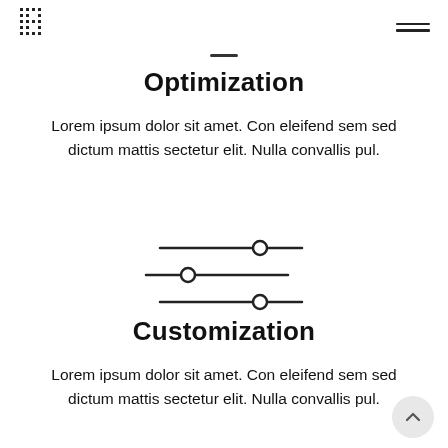H (logo) | hamburger menu
Optimization
Lorem ipsum dolor sit amet. Con eleifend sem sed dictum mattis sectetur elit. Nulla convallis pul.
[Figure (illustration): Three horizontal slider/equalizer lines icon, each with a circular handle at different positions]
Customization
Lorem ipsum dolor sit amet. Con eleifend sem sed dictum mattis sectetur elit. Nulla convallis pul.